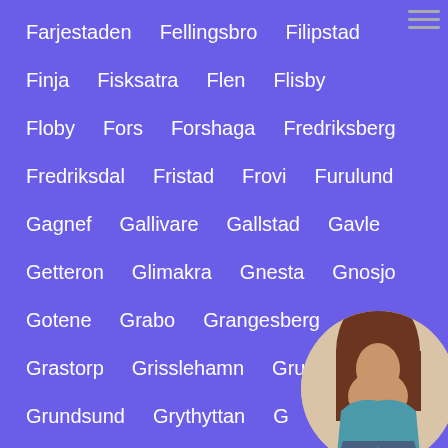Farjestaden
Fellingsbro
Filipstad
Finja
Fisksatra
Flen
Flisby
Floby
Fors
Forshaga
Fredriksberg
Fredriksdal
Fristad
Frovi
Furulund
Gagnef
Gallivare
Gallstad
Gavle
Getteron
Glimakra
Gnesta
Gnosjo
Gotene
Grabo
Grangesberg
Grastorp
Grisslehamn
Grums
Grundsund
Grythyttan
G...
Gunnebo
Hallefors
Hl...
Hallevik
Hallsberg
Hallstahammar
[Figure (photo): Circular cropped photo of a person (woman with brown hair, wearing teal/denim clothing) positioned in the bottom-right corner of the page]